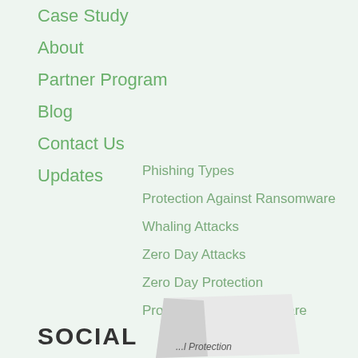Case Study
About
Partner Program
Blog
Contact Us
Updates
Phishing Types
Protection Against Ransomware
Whaling Attacks
Zero Day Attacks
Zero Day Protection
Protection Against Malware
SOCIAL
[Figure (illustration): Partial view of a book or brochure with text 'Protection' visible at the bottom]